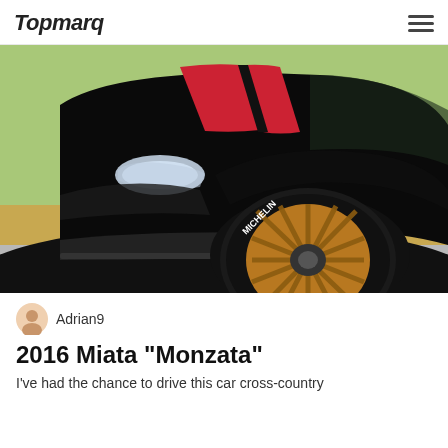Topmarq
[Figure (photo): Close-up photo of a black Mazda Miata (2016) with a red racing stripe on the hood and golden/bronze multi-spoke wheels with Michelin tires, shot from the front-left angle on a racetrack or road.]
Adrian9
2016 Miata "Monzata"
I've had the chance to drive this car cross-country